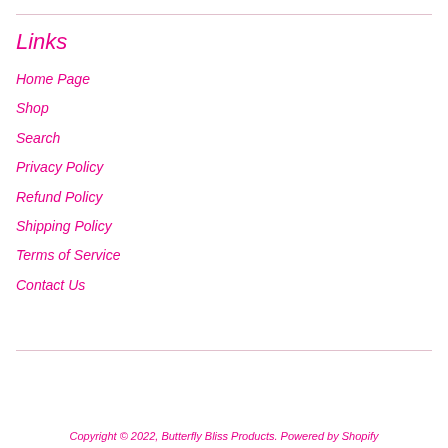Links
Home Page
Shop
Search
Privacy Policy
Refund Policy
Shipping Policy
Terms of Service
Contact Us
Copyright © 2022, Butterfly Bliss Products. Powered by Shopify